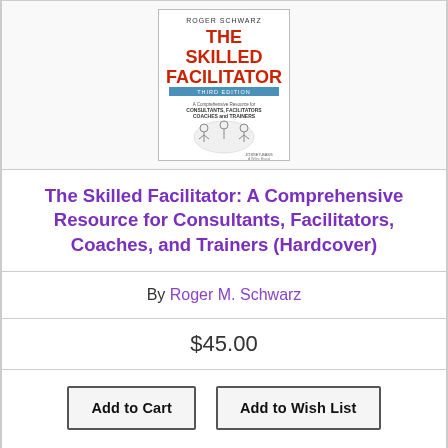[Figure (photo): Book cover of 'The Skilled Facilitator: A Comprehensive Resource for Consultants, Facilitators, Coaches, and Trainers' by Roger Schwarz, Third Edition]
The Skilled Facilitator: A Comprehensive Resource for Consultants, Facilitators, Coaches, and Trainers (Hardcover)
By Roger M. Schwarz
$45.00
Add to Cart   Add to Wish List
NOT ON OUR SHELVES- available for order, usually ships in 1-5 days
[Figure (photo): Partial view of another book cover showing a blue abstract triangular mountain-like shape]